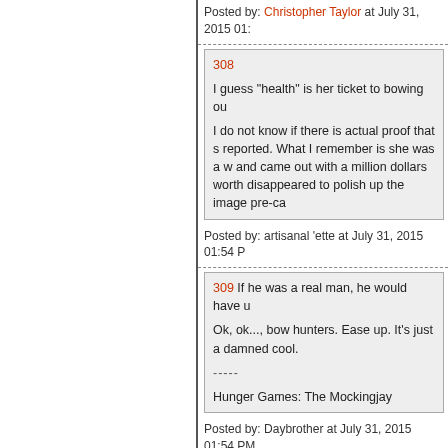Posted by: Christopher Taylor at July 31, 2015 01:
308

I guess "health" is her ticket to bowing ou

I do not know if there is actual proof that she reported. What I remember is she was a w and came out with a million dollars worth disappeared to polish up the image pre-ca
Posted by: artisanal 'ette at July 31, 2015 01:54 P
309 If he was a real man, he would have u

Ok, ok..., bow hunters. Ease up. It's just a damned cool.
-----

Hunger Games: The Mockingjay
Posted by: Daybrother at July 31, 2015 01:54 PM
310 Shotgun with a bean bag or rubber bu